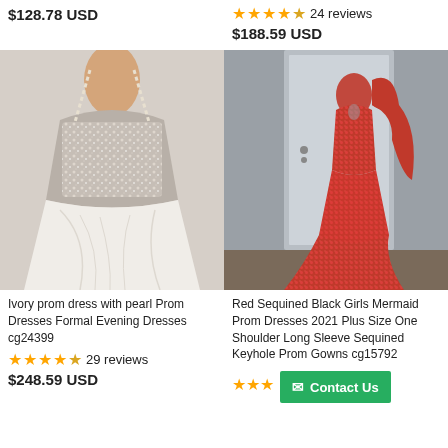$128.78 USD
★★★★☆ 24 reviews
$188.59 USD
[Figure (photo): Ivory prom dress with pearl embellishments on the bodice, spaghetti straps, and white satin skirt]
[Figure (photo): Red sequined mermaid prom dress, one-shoulder, long sleeve, worn by a model on a mannequin]
Ivory prom dress with pearl Prom Dresses Formal Evening Dresses cg24399
★★★★☆ 29 reviews
$248.59 USD
Red Sequined Black Girls Mermaid Prom Dresses 2021 Plus Size One Shoulder Long Sleeve Sequined Keyhole Prom Gowns cg15792
★★★
Contact Us